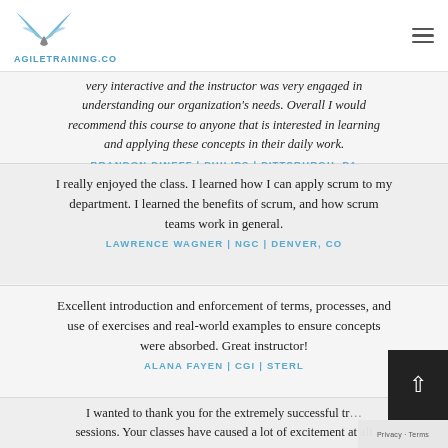AGILETRAINING.CO
very interactive and the instructor was very engaged in understanding our organization's needs. Overall I would recommend this course to anyone that is interested in learning and applying these concepts in their daily work.
BRANDON DINEFF | PHILIPS | PITTSBURGH, PA
I really enjoyed the class. I learned how I can apply scrum to my department. I learned the benefits of scrum, and how scrum teams work in general.
LAWRENCE WAGNER | NGC | DENVER, CO
Excellent introduction and enforcement of terms, processes, and use of exercises and real-world examples to ensure concepts were absorbed. Great instructor!
ALANA FAYEN | CGI | STERL...
I wanted to thank you for the extremely successful tr... sessions. Your classes have caused a lot of excitement at all